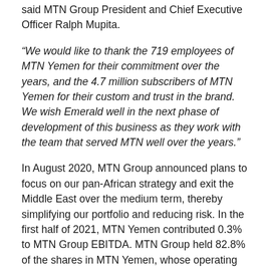said MTN Group President and Chief Executive Officer Ralph Mupita.
“We would like to thank the 719 employees of MTN Yemen for their commitment over the years, and the 4.7 million subscribers of MTN Yemen for their custom and trust in the brand. We wish Emerald well in the next phase of development of this business as they work with the team that served MTN well over the years.”
In August 2020, MTN Group announced plans to focus on our pan-African strategy and exit the Middle East over the medium term, thereby simplifying our portfolio and reducing risk. In the first half of 2021, MTN Yemen contributed 0.3% to MTN Group EBITDA. MTN Group held 82.8% of the shares in MTN Yemen, whose operating licence for its 2G network is due for renewal at the end of 2021.